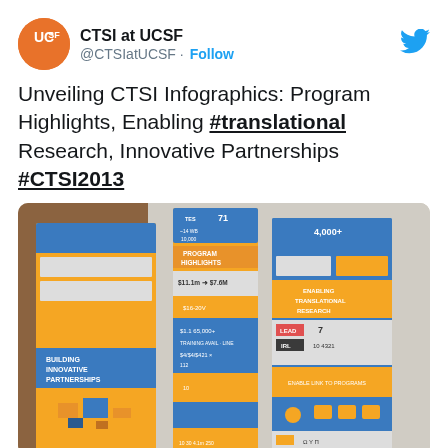CTSI at UCSF @CTSIatUCSF · Follow
Unveiling CTSI Infographics: Program Highlights, Enabling #translational Research, Innovative Partnerships #CTSI2013
[Figure (photo): Photo of three large CTSI infographic posters displayed on a wall. The left poster is titled 'Building Innovative Partnerships', the center poster is titled 'Program Highlights' and shows statistics including $11.1m and $7.6M and 65,000+, and the right poster is titled 'Enabling Translational Research'. All posters use orange and blue color schemes with statistics and icons.]